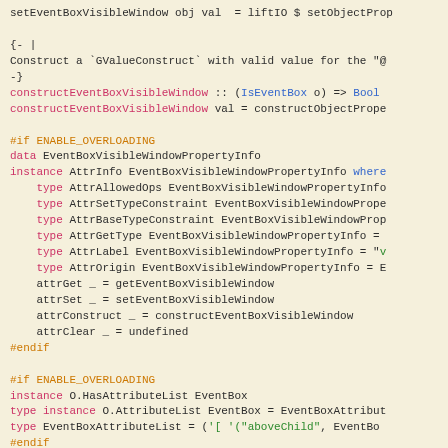setEventBoxVisibleWindow obj val = liftIO $ setObjectProp...
{- | Construct a `GValueConstruct` with valid value for the ... -}
constructEventBoxVisibleWindow :: (IsEventBox o) => Bool...
constructEventBoxVisibleWindow val = constructObjectPrope...
#if ENABLE_OVERLOADING
data EventBoxVisibleWindowPropertyInfo
instance AttrInfo EventBoxVisibleWindowPropertyInfo where...
type AttrAllowedOps EventBoxVisibleWindowPropertyInfo...
type AttrSetTypeConstraint EventBoxVisibleWindowPrope...
type AttrBaseTypeConstraint EventBoxVisibleWindowProp...
type AttrGetType EventBoxVisibleWindowPropertyInfo =...
type AttrLabel EventBoxVisibleWindowPropertyInfo = "v...
type AttrOrigin EventBoxVisibleWindowPropertyInfo = E...
attrGet _ = getEventBoxVisibleWindow
attrSet _ = setEventBoxVisibleWindow
attrConstruct _ = constructEventBoxVisibleWindow
attrClear _ = undefined
#endif
#if ENABLE_OVERLOADING
instance O.HasAttributeList EventBox
type instance O.AttributeList EventBox = EventBoxAttribut...
type EventBoxAttributeList = ('[ '("aboveChild", EventBo...
#endif
#if ENABLE_OVERLOADING
eventBoxAboveChild :: AttrLabelProxy "aboveChild"